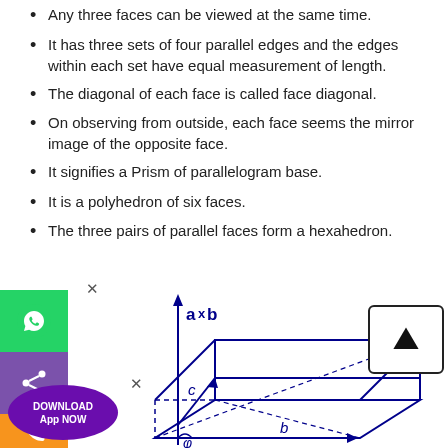Any three faces can be viewed at the same time.
It has three sets of four parallel edges and the edges within each set have equal measurement of length.
The diagonal of each face is called face diagonal.
On observing from outside, each face seems the mirror image of the opposite face.
It signifies a Prism of parallelogram base.
It is a polyhedron of six faces.
The three pairs of parallel faces form a hexahedron.
[Figure (engineering-diagram): 3D diagram of a parallelepiped with labeled vectors a×b (vertical axis), b (horizontal arrow), c (slanted edge), and angle φ at the base. The shape is drawn in dark blue with dashed internal lines.]